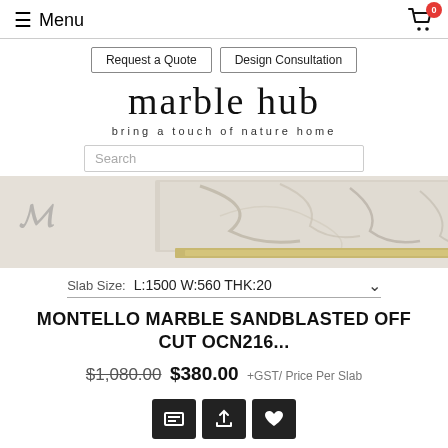Menu | Cart (0)
Request a Quote | Design Consultation
marble hub
bring a touch of nature home
Search
[Figure (photo): Marble slab product image showing grey/white marble with veining, mounted on a light beige/gold metal frame stand]
Slab Size: L:1500 W:560 THK:20
MONTELLO MARBLE SANDBLASTED OFF CUT OCN216...
$1,080.00 $380.00 +GST/ Price Per Slab
[Figure (other): Three action icon buttons: print/table, upload/share, and heart/wishlist]